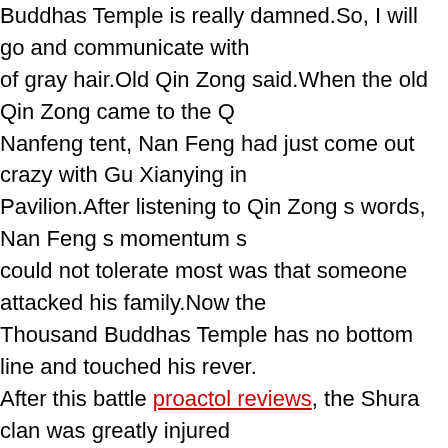Buddhas Temple is really damned.So, I will go and communicate with of gray hair.Old Qin Zong said.When the old Qin Zong came to the Nanfeng tent, Nan Feng had just come out crazy with Gu Xianying in Pavilion.After listening to Qin Zong s words, Nan Feng s momentum could not tolerate most was that someone attacked his family.Now the Thousand Buddhas Temple has no bottom line and touched his rever After this battle proactol reviews, the Shura clan was greatly injured for energy and weight loss The Hundred Clan Alliance would natura fearing to break the bottom limit What is the difference between limit knew that the Hundred Clan Alliance is really not afraid of fighting to b because the advantages of the Hundred Clan Alliance are too great.M Haoyue are willing to fight for Nan Feng.Adding Nan Feng and Long four powerful demigods, Ye Tianlan did not dare to act at will, and was dead end.As for the cultivators of the power level, the Shura Clan of t Alliance has a lot more, and they are fighting hard.The fact is that the Clan Alliance held a meeting in the city lord s mansion of Dongxuan C Zong also invited him.Dazong presided over the meeting.The first thin to call Nan Feng and Mo Qingyan from China City.Hearing that it was Da Zong, Nan Feng agreed to participate.